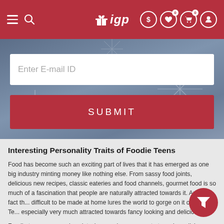IGP navigation bar with hamburger, search, logo, dollar icon, wishlist (0), cart (0), profile
[Figure (screenshot): Email input field with placeholder 'Enter E-mail ID' and a red SUBMIT button on a blue-grey gradient background with decorative firework patterns]
Interesting Personality Traits of Foodie Teens
Food has become such an exciting part of lives that it has emerged as one big industry minting money like nothing else. From sassy food joints, delicious new recipes, classic eateries and food channels, gourmet food is so much of a fascination that people are naturally attracted towards it. And the fact that it is difficult to be made at home lures the world to gorge on it outside. Teens are especially very much attracted towards fancy looking and delicious ta...
Foodie teens are a curious lot who are always eager to try unique dishes. They are very energetic all the time and enthusiastic about everything in life. Foodie teens are highly sensitive and thoughtful as teenage is the age when realization of many...